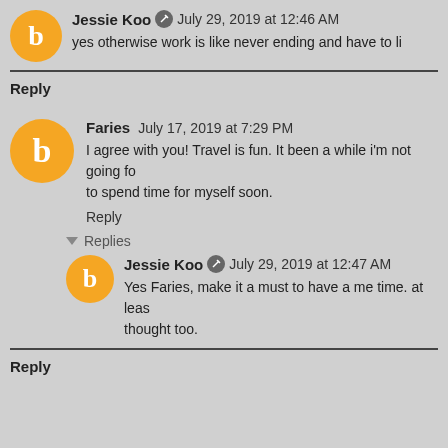Jessie Koo   July 29, 2019 at 12:46 AM
yes otherwise work is like never ending and have to li...
Reply
Faries   July 17, 2019 at 7:29 PM
I agree with you! Travel is fun. It been a while i'm not going fo... to spend time for myself soon.
Reply
Replies
Jessie Koo   July 29, 2019 at 12:47 AM
Yes Faries, make it a must to have a me time. at leas... thought too.
Reply